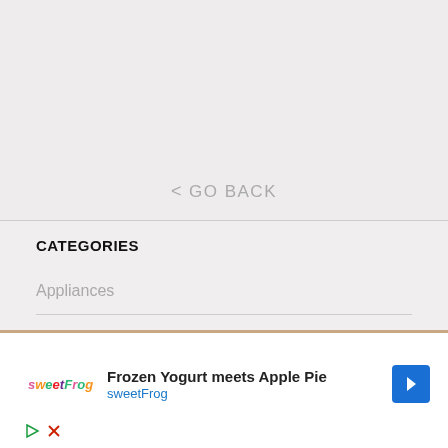< GO BACK
CATEGORIES
Appliances
Auto/Truck
[Figure (screenshot): Advertisement banner: sweetFrog logo, text 'Frozen Yogurt meets Apple Pie' with sweetFrog link and blue arrow navigation icon, plus play and close icons at bottom.]